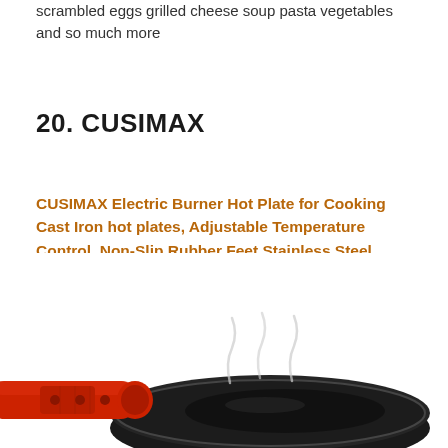scrambled eggs grilled cheese soup pasta vegetables and so much more
20. CUSIMAX
CUSIMAX Electric Burner Hot Plate for Cooking Cast Iron hot plates, Adjustable Temperature Control, Non-Slip Rubber Feet Stainless Steel (Single Stove)
[Figure (photo): Photo of a red-handled cast iron skillet/frying pan on a hot plate, with steam rising from it]